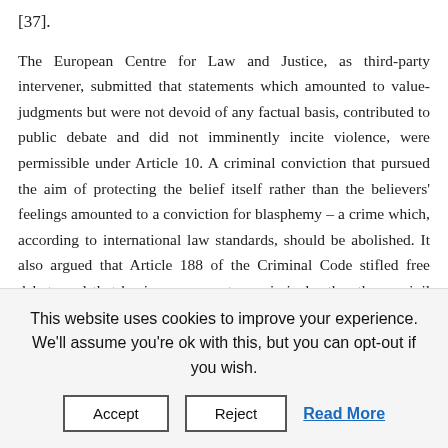[37].
The European Centre for Law and Justice, as third-party intervener, submitted that statements which amounted to value-judgments but were not devoid of any factual basis, contributed to public debate and did not imminently incite violence, were permissible under Article 10. A criminal conviction that pursued the aim of protecting the belief itself rather than the believers' feelings amounted to a conviction for blasphemy – a crime which, according to international law standards, should be abolished. It also argued that Article 188 of the Criminal Code stifled free debate and that having recourse to a criminal rather than a civil law sanction to protect freedom of religion was not necessary in a democratic society.
This website uses cookies to improve your experience. We'll assume you're ok with this, but you can opt-out if you wish.
Accept
Reject
Read More